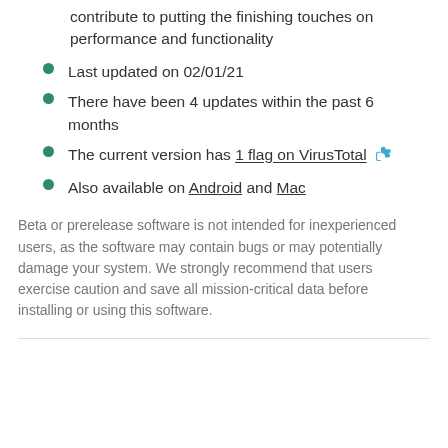contribute to putting the finishing touches on performance and functionality
Last updated on 02/01/21
There have been 4 updates within the past 6 months
The current version has 1 flag on VirusTotal 👍
Also available on Android and Mac
Beta or prerelease software is not intended for inexperienced users, as the software may contain bugs or may potentially damage your system. We strongly recommend that users exercise caution and save all mission-critical data before installing or using this software.